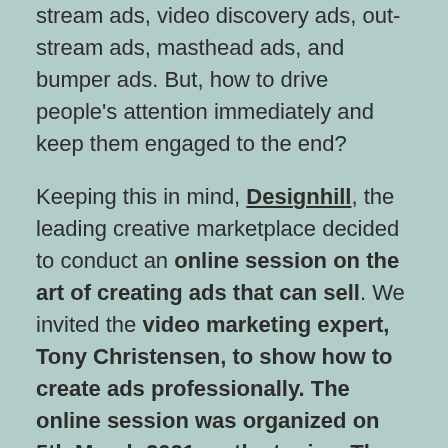stream ads, video discovery ads, out-stream ads, masthead ads, and bumper ads. But, how to drive people's attention immediately and keep them engaged to the end?
Keeping this in mind, Designhill, the leading creative marketplace decided to conduct an online session on the art of creating ads that can sell. We invited the video marketing expert, Tony Christensen, to show how to create ads professionally. The online session was organized on 5th March 2021 on the topic – The Art of Ads: Creating Videos That Sell.